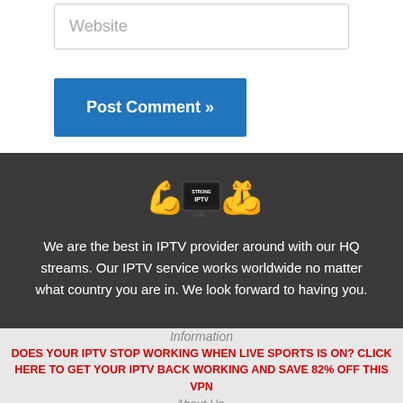Website
Post Comment »
[Figure (logo): Strong IPTV logo with flexing arms emoji and a TV screen showing STRONG IPTV text]
We are the best in IPTV provider around with our HQ streams. Our IPTV service works worldwide no matter what country you are in. We look forward to having you.
Information
DOES YOUR IPTV STOP WORKING WHEN LIVE SPORTS IS ON? CLICK HERE TO GET YOUR IPTV BACK WORKING AND SAVE 82% OFF THIS VPN
About Us.